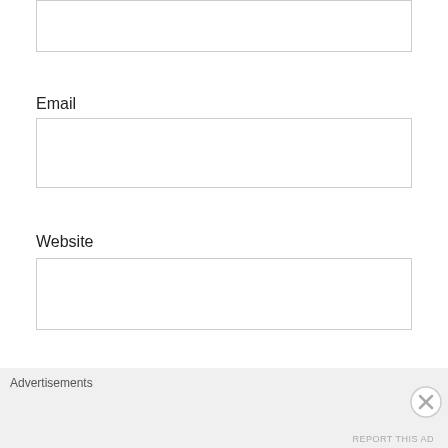[Figure (screenshot): Partial input field at the top of the page, showing the bottom portion of a text input box with a thin gray border.]
Email
[Figure (screenshot): Email input text field, empty, with a thin gray border.]
Website
[Figure (screenshot): Website input text field, empty, with a thin gray border.]
[Figure (screenshot): Blue 'Post Comment' button.]
Notify me of new comments via email.
Notify me of new posts via email.
Advertisements
REPORT THIS AD